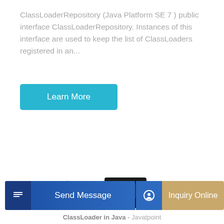ClassLoaderRepository (Java Platform SE 7 ) public interface ClassLoaderRepository. Instances of this interface are used to keep the list of ClassLoaders registered in an...
[Figure (illustration): A yellow mini excavator/compact excavator with black tracks and cab on a white background]
ClassLoader in Java - Javatpoint